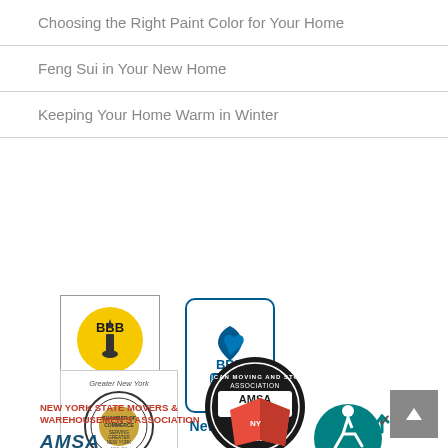Choosing the Right Paint Color for Your Home
Feng Sui in Your New Home
Keeping Your Home Warm in Winter
[Figure (logo): BBB Reliability Program BBBOnLine logo - New York]
[Figure (logo): BBB Accredited Business logo - New Jersey]
[Figure (logo): Greater New York Chamber of Commerce seal - www.achamber.com]
[Figure (logo): AMSA American Moving and Storage Association Certified Mover Valid Through 2010 badge]
[Figure (logo): New York State Movers & Warehousemen's Association logo with NY flag and AMSA text]
[Figure (logo): Accessible icon - wheelchair user with checkmark on teal circle]